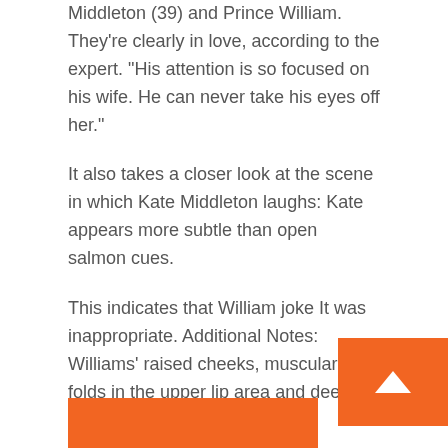Middleton (39) and Prince William. They’re clearly in love, according to the expert. “His attention is so focused on his wife. He can never take his eyes off her.”
It also takes a closer look at the scene in which Kate Middleton laughs: Kate appears more subtle than open salmon cues.
This indicates that William joke It was inappropriate. Additional Notes: Williams’ raised cheeks, muscular folds in the upper lip area and deep creases in the cheek.
What do you think of hooligan jokes?
[Figure (other): Orange rectangle partially visible at bottom of page, and an orange back-to-top button with upward arrow on the right side.]